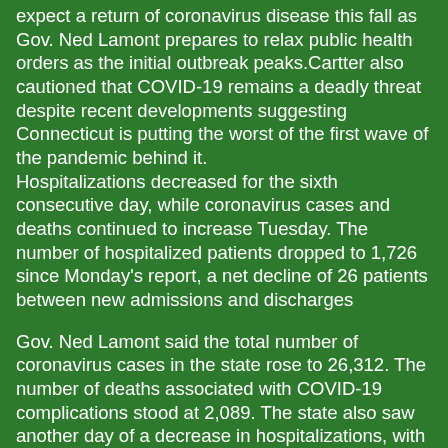expect a return of coronavirus disease this fall as Gov. Ned Lamont prepares to relax public health orders as the initial outbreak peaks.Cartter also cautioned that COVID-19 remains a deadly threat despite recent developments suggesting Connecticut is putting the worst of the first wave of the pandemic behind it. Hospitalizations decreased for the sixth consecutive day, while coronavirus cases and deaths continued to increase Tuesday. The number of hospitalized patients dropped to 1,726 since Monday's report, a net decline of 26 patients between new admissions and discharges
Gov. Ned Lamont said the total number of coronavirus cases in the state rose to 26,312. The number of deaths associated with COVID-19 complications stood at 2,089. The state also saw another day of a decrease in hospitalizations, with 1,732 people hospitalized. He added that 92,745 tests have been conducted.
Connecticut Gov. Ned Lamont announced that some people who filed for unemployment benefits should start to see on Tuesday an additional $600 in federal stimulus funds in their accounts. Lamont said the state's Department of Labor old computer